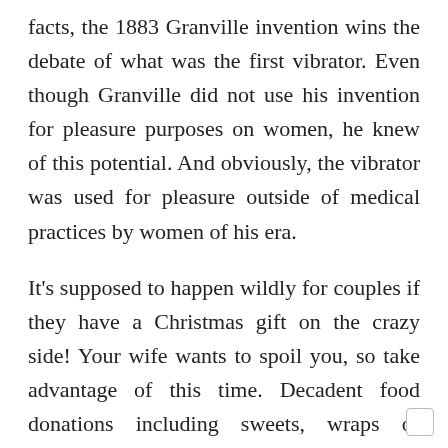facts, the 1883 Granville invention wins the debate of what was the first vibrator. Even though Granville did not use his invention for pleasure purposes on women, he knew of this potential. And obviously, the vibrator was used for pleasure outside of medical practices by women of his era.
It's supposed to happen wildly for couples if they have a Christmas gift on the crazy side! Your wife wants to spoil you, so take advantage of this time. Decadent food donations including sweets, wraps of chocolate, jewels, lingerie, roses, plates, romantic dumplings, sex toys and wine are all popular gifts for males and females because they are very lavish to make you feel odd. Even if you're not a fancy or luxurious lover, you're expected to